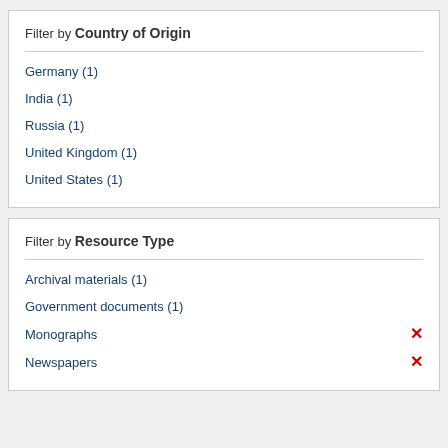Filter by Country of Origin
Germany (1)
India (1)
Russia (1)
United Kingdom (1)
United States (1)
Filter by Resource Type
Archival materials (1)
Government documents (1)
Monographs
Newspapers